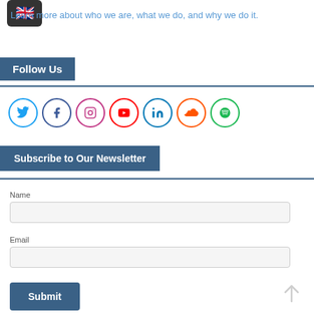[Figure (illustration): UK flag emoji icon on dark rounded background]
Learn more about who we are, what we do, and why we do it.
Follow Us
[Figure (infographic): Row of social media icons: Twitter, Facebook, Instagram, YouTube, LinkedIn, SoundCloud, Spotify — each in a colored circle outline]
Subscribe to Our Newsletter
Name
Email
Submit